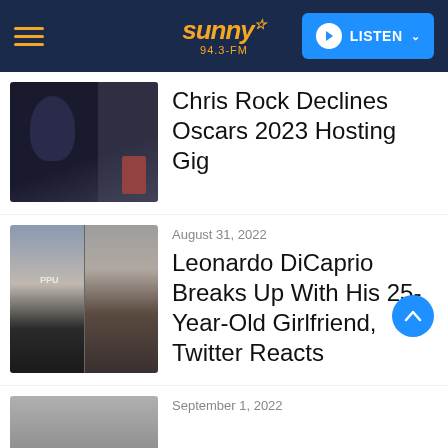sunny 94.3-FM | LISTEN
[Figure (photo): Photo of Chris Rock in a tuxedo, holding a red envelope, at what appears to be an awards ceremony.]
Chris Rock Declines Oscars 2023 Hosting Gig
August 31, 2022
[Figure (photo): Split photo of Leonardo DiCaprio in a tuxedo on the left and a young dark-haired woman on the right.]
Leonardo DiCaprio Breaks Up With His 25-Year-Old Girlfriend, Twitter Reacts
September 1, 2022
[Figure (photo): Partial photo of a person, cropped at bottom of page.]